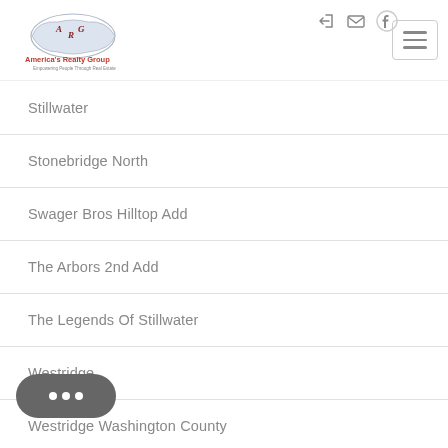[Figure (logo): America's Realty Group logo — map of USA with ARG initials and text 'America's Realty Group, Empowering People Through Real Estate']
Stillwater
Stonebridge North
Swager Bros Hilltop Add
The Arbors 2nd Add
The Legends Of Stillwater
Westridge
Westridge Washington County
White Pine Ridge